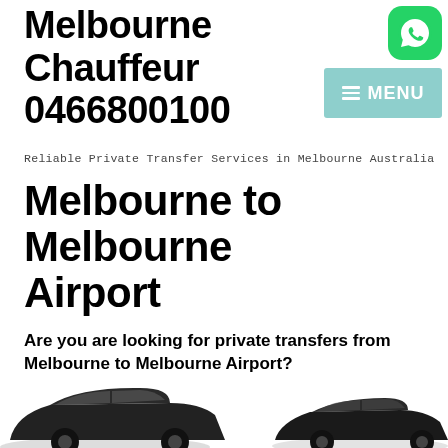Melbourne Chauffeur 0466800100
Reliable Private Transfer Services in Melbourne Australia
[Figure (logo): WhatsApp icon button — green rounded square with white phone/chat icon]
[Figure (other): Navigation menu button with hamburger lines and MENU text on teal/mint background]
Melbourne to Melbourne Airport
Are you are looking for private transfers from Melbourne to Melbourne Airport?
[Figure (photo): Two dark/black luxury vehicles partially visible at bottom of page — an SUV on the left and a sedan on the right]